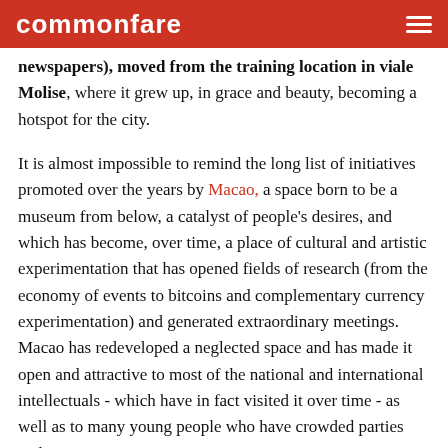commonfare
newspapers), moved from the training location in viale Molise, where it grew up, in grace and beauty, becoming a hotspot for the city.
It is almost impossible to remind the long list of initiatives promoted over the years by Macao, a space born to be a museum from below, a catalyst of people's desires, and which has become, over time, a place of cultural and artistic experimentation that has opened fields of research (from the economy of events to bitcoins and complementary currency experimentation) and generated extraordinary meetings. Macao has redeveloped a neglected space and has made it open and attractive to most of the national and international intellectuals - which have in fact visited it over time - as well as to many young people who have crowded parties and concerts.
This is the actual meaning of “social innovation” that inspires us, and we recall it every day by collecting